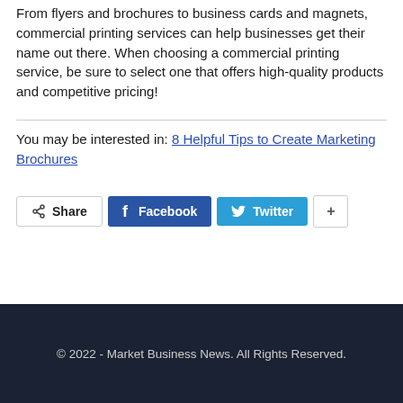From flyers and brochures to business cards and magnets, commercial printing services can help businesses get their name out there. When choosing a commercial printing service, be sure to select one that offers high-quality products and competitive pricing!
You may be interested in: 8 Helpful Tips to Create Marketing Brochures
Share  Facebook  Twitter  +
© 2022 - Market Business News. All Rights Reserved.